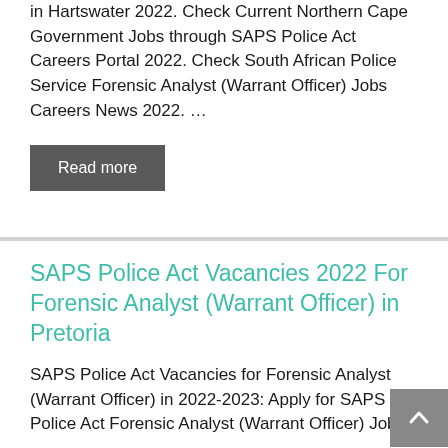in Hartswater 2022. Check Current Northern Cape Government Jobs through SAPS Police Act Careers Portal 2022. Check South African Police Service Forensic Analyst (Warrant Officer) Jobs Careers News 2022. …
Read more
SAPS Police Act Vacancies 2022 For Forensic Analyst (Warrant Officer) in Pretoria
SAPS Police Act Vacancies for Forensic Analyst (Warrant Officer) in 2022-2023: Apply for SAPS Police Act Forensic Analyst (Warrant Officer) Jobs